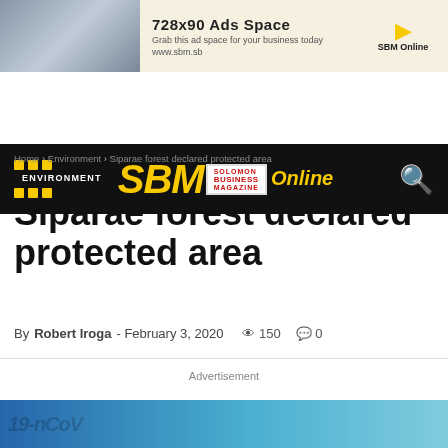[Figure (other): Advertisement banner: 728x90 Ads Space - Grab this ad space for your business today www.sbm.sb, SBM Online logo with yellow arrow]
[Figure (logo): SBM Solomon Business Magazine Online logo on black navigation bar with yellow grid icon and yellow search icon]
Home › Environment › Siparae forest declared protected area
ENVIRONMENT
Siparae forest declared protected area
By Robert Iroga - February 3, 2020  👁 150  💬 0
Advertisement
[Figure (photo): Partial image at bottom showing COVID-19 related items with blue background]